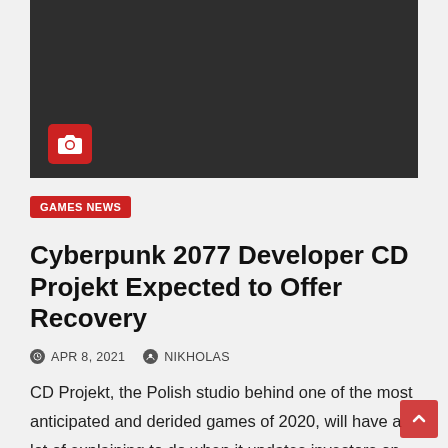[Figure (photo): Dark gray placeholder image with a red camera icon in the lower left corner]
GAMES NEWS
Cyberpunk 2077 Developer CD Projekt Expected to Offer Recovery
APR 8, 2021  NIKHOLAS
CD Projekt, the Polish studio behind one of the most anticipated and derided games of 2020, will have a lot of explaining to do when it updates investors on its…